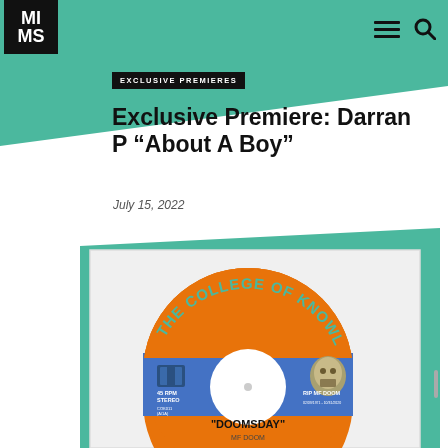MI MS
EXCLUSIVE PREMIERES
Exclusive Premiere: Darran P “About A Boy”
July 15, 2022
[Figure (photo): Vinyl record with orange and blue College of Knowledge label showing MF DOOM Doomsday at 45 RPM stereo, with record sleeve artwork in background featuring green teal card]